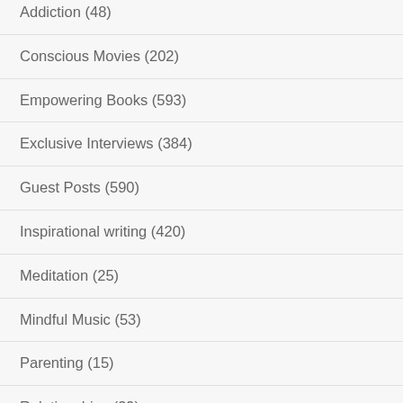Addiction (48)
Conscious Movies (202)
Empowering Books (593)
Exclusive Interviews (384)
Guest Posts (590)
Inspirational writing (420)
Meditation (25)
Mindful Music (53)
Parenting (15)
Relationships (39)